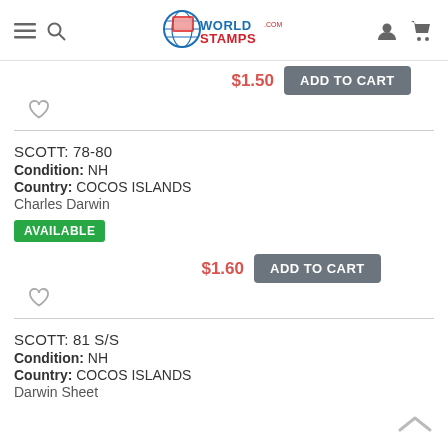WorldStamps.com
$1.50  ADD TO CART
♡
SCOTT: 78-80
Condition: NH
Country: COCOS ISLANDS
Charles Darwin
AVAILABLE
$1.60  ADD TO CART
♡
SCOTT: 81 S/S
Condition: NH
Country: COCOS ISLANDS
Darwin Sheet